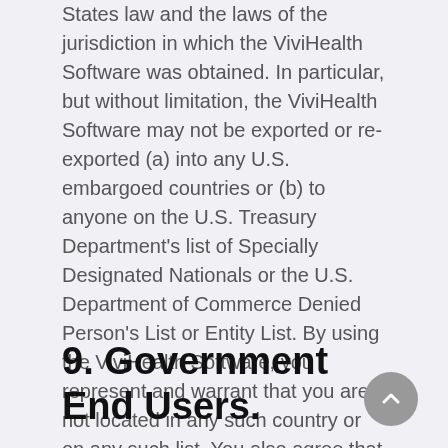States law and the laws of the jurisdiction in which the ViviHealth Software was obtained. In particular, but without limitation, the ViviHealth Software may not be exported or re-exported (a) into any U.S. embargoed countries or (b) to anyone on the U.S. Treasury Department's list of Specially Designated Nationals or the U.S. Department of Commerce Denied Person's List or Entity List. By using the ViviHealth Software, you represent and warrant that you are not located in any such country or on any such list. You also agree that you will not use the ViviHealth Software for any purposes prohibited by United States law.
9. Government End Users.